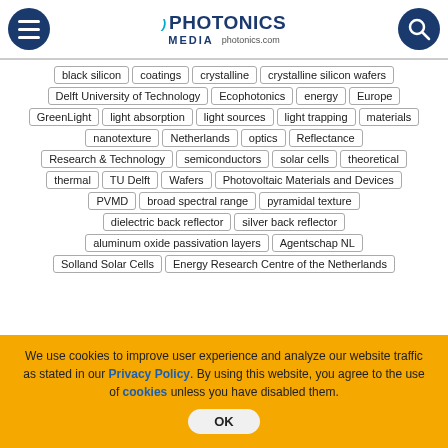Photonics Media — photonics.com
black silicon
coatings
crystalline
crystalline silicon wafers
Delft University of Technology
Ecophotonics
energy
Europe
GreenLight
light absorption
light sources
light trapping
materials
nanotexture
Netherlands
optics
Reflectance
Research & Technology
semiconductors
solar cells
theoretical
thermal
TU Delft
Wafers
Photovoltaic Materials and Devices
PVMD
broad spectral range
pyramidal texture
dielectric back reflector
silver back reflector
aluminum oxide passivation layers
Agentschap NL
Solland Solar Cells
Energy Research Centre of the Netherlands
We use cookies to improve user experience and analyze our website traffic as stated in our Privacy Policy. By using this website, you agree to the use of cookies unless you have disabled them.